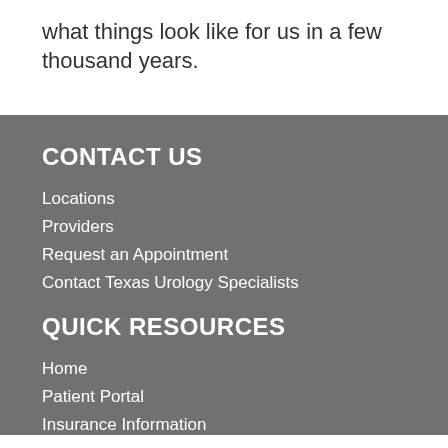what things look like for us in a few thousand years.
CONTACT US
Locations
Providers
Request an Appointment
Contact Texas Urology Specialists
QUICK RESOURCES
Home
Patient Portal
Insurance Information